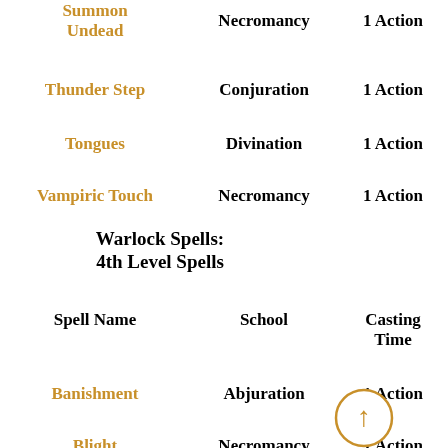Summon Undead | Necromancy | 1 Action
Thunder Step | Conjuration | 1 Action
Tongues | Divination | 1 Action
Vampiric Touch | Necromancy | 1 Action
Warlock Spells: 4th Level Spells
| Spell Name | School | Casting Time |
| --- | --- | --- |
| Banishment | Abjuration | 1 Action |
| Blight | Necromancy | 1 Action |
| Charm Monster | Enchantment | 1 Action |